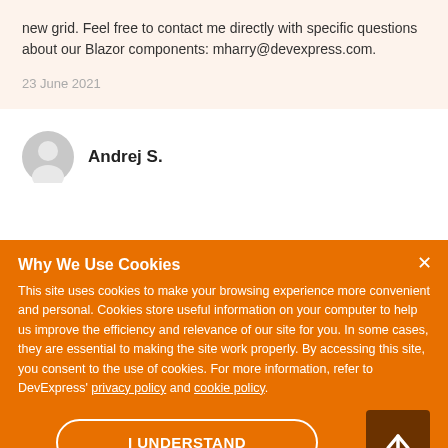new grid. Feel free to contact me directly with specific questions about our Blazor components: mharry@devexpress.com.
23 June 2021
Andrej S.
Why We Use Cookies
This site uses cookies to make your browsing experience more convenient and personal. Cookies store useful information on your computer to help us improve the efficiency and relevance of our site for you. In some cases, they are essential to making the site work properly. By accessing this site, you consent to the use of cookies. For more information, refer to DevExpress' privacy policy and cookie policy.
I UNDERSTAND